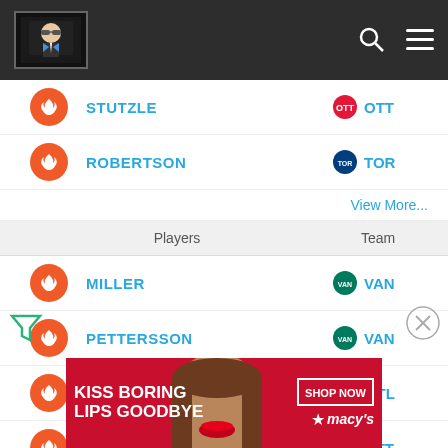[Figure (screenshot): Dark navigation bar with a logo (illustrated figure in a box) on the left, search icon and hamburger menu icon on the right]
STUTZLE — OTT
ROBERTSON — TOR
View More...
Players   Team
MILLER — VAN
PETTERSSON — VAN
DACH — MTL
STUTZLE — OTT
DOBSON — NYI
[Figure (illustration): Filter icon (triangle funnel) on the left side]
[Figure (illustration): Close/X button circle on the right side]
[Figure (photo): Macy's advertisement banner: KISS BORING LIPS GOODBYE with a woman's face and red lips, SHOP NOW button and Macy's star logo]